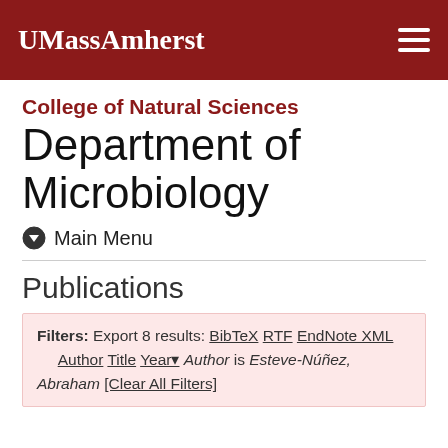UMassAmherst
College of Natural Sciences
Department of Microbiology
⬇ Main Menu
Publications
Filters: Export 8 results: BibTeX RTF EndNote XML Author Title Year▼ Author is Esteve-Núñez, Abraham [Clear All Filters]